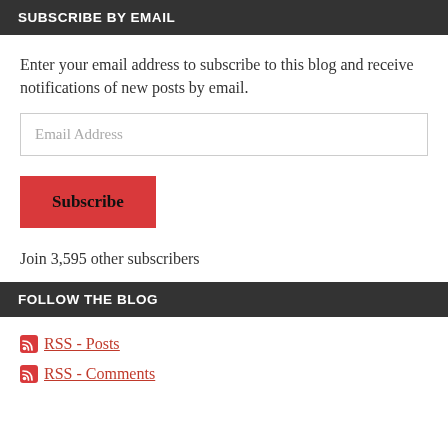SUBSCRIBE BY EMAIL
Enter your email address to subscribe to this blog and receive notifications of new posts by email.
Email Address
Subscribe
Join 3,595 other subscribers
FOLLOW THE BLOG
RSS - Posts
RSS - Comments